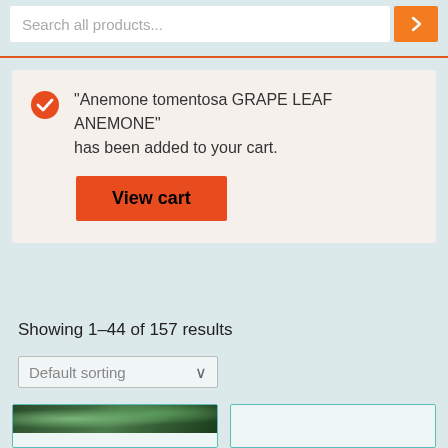[Figure (screenshot): Search bar with placeholder 'Search all products...' and orange search button with right arrow]
"Anemone tomentosa GRAPE LEAF ANEMONE" has been added to your cart.
View cart
Showing 1–44 of 157 results
Default sorting
[Figure (screenshot): Two product card placeholders in a grid, left card has a plant/flower image strip at top, right card is empty/light]